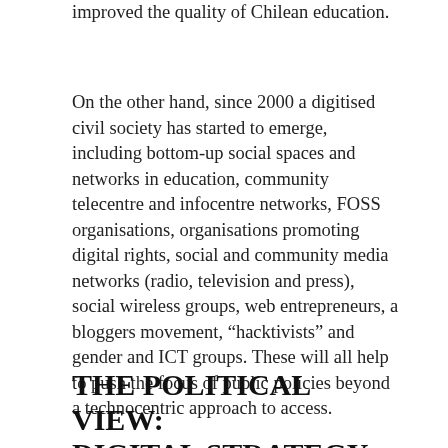improved the quality of Chilean education.
On the other hand, since 2000 a digitised civil society has started to emerge, including bottom-up social spaces and networks in education, community telecentre and infocentre networks, FOSS organisations, organisations promoting digital rights, social and community media networks (radio, television and press), social wireless groups, web entrepreneurs, a bloggers movement, “hacktivists” and gender and ICT groups. These will all help to push the focus of public policies beyond a technocentric approach to access.
THE POLITICAL VIEW: DIGITAL STRATEGY FOR 2007-2012